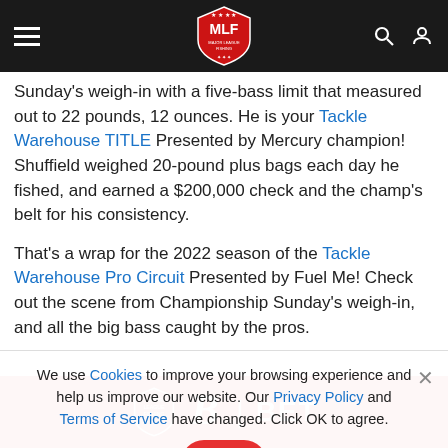MLF Major League Fishing navigation bar
Sunday's weigh-in with a five-bass limit that measured out to 22 pounds, 12 ounces. He is your Tackle Warehouse TITLE Presented by Mercury champion! Shuffield weighed 20-pound plus bags each day he fished, and earned a $200,000 check and the champ's belt for his consistency.
That's a wrap for the 2022 season of the Tackle Warehouse Pro Circuit Presented by Fuel Me! Check out the scene from Championship Sunday's weigh-in, and all the big bass caught by the pros.
We use Cookies to improve your browsing experience and help us improve our website. Our Privacy Policy and Terms of Service have changed. Click OK to agree.
[Figure (logo): Major League Fishing BET advertisement banner in red]
Major League Fishing BET advertisement